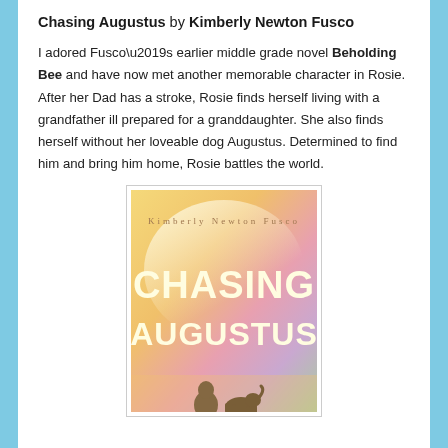Chasing Augustus by Kimberly Newton Fusco
I adored Fusco’s earlier middle grade novel Beholding Bee and have now met another memorable character in Rosie. After her Dad has a stroke, Rosie finds herself living with a grandfather ill prepared for a granddaughter. She also finds herself without her loveable dog Augustus. Determined to find him and bring him home, Rosie battles the world.
[Figure (illustration): Book cover of 'Chasing Augustus' by Kimberly Newton Fusco. The cover has a warm gradient background of yellows, pinks, and greens. The author name 'Kimberly Newton Fusco' appears in spaced letters near the top. The title 'CHASING AUGUSTUS' appears in large cream/yellow letters. Silhouettes of figures (a child and a dog) are visible at the bottom.]